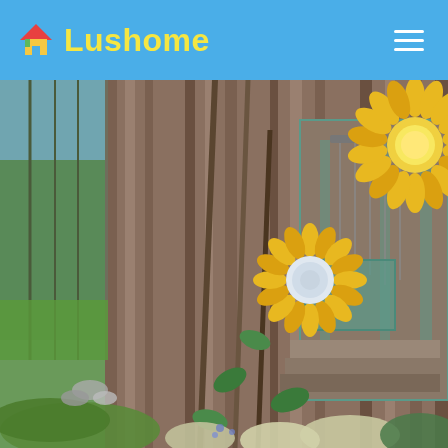Lushome
[Figure (photo): Garden photo showing decorative metal sunflower sculptures on stakes placed in front of a rustic wooden fence/shed, surrounded by green plants and flowers including sedum and small blue flowers. The sunflowers are bright yellow with mirrored centers.]